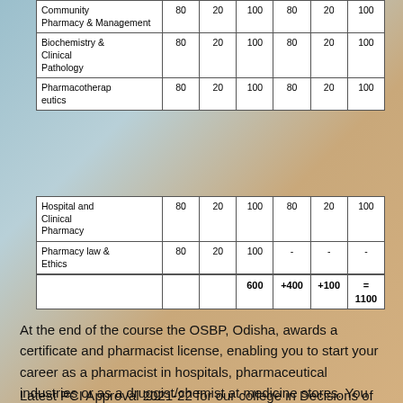| Subject | Theory | Practical | Total | Theory | Practical | Total |
| --- | --- | --- | --- | --- | --- | --- |
| Community Pharmacy & Management | 80 | 20 | 100 | 80 | 20 | 100 |
| Biochemistry & Clinical Pathology | 80 | 20 | 100 | 80 | 20 | 100 |
| Pharmacotherapeutics | 80 | 20 | 100 | 80 | 20 | 100 |
| Hospital and Clinical Pharmacy | 80 | 20 | 100 | 80 | 20 | 100 |
| Pharmacy law & Ethics | 80 | 20 | 100 | - | - | - |
|  |  |  | 600 | +400 | +100 | = 1100 |
At the end of the course the OSBP, Odisha, awards a certificate and pharmacist license, enabling you to start your career as a pharmacist in hospitals, pharmaceutical industries or as a druggist/chemist at medicine stores. You can also start your own medicine store.
Latest PCI Approval 2021-22 for our college in Decisions of